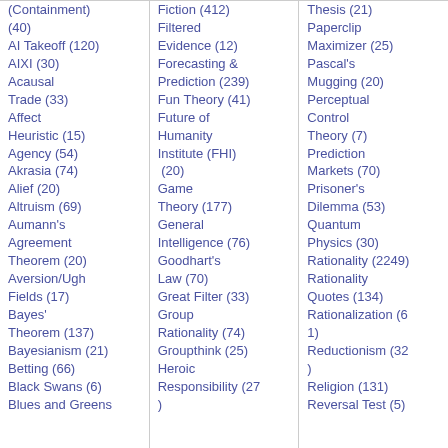(Containment) (40)
AI Takeoff (120)
AIXI (30)
Acausal Trade (33)
Affect Heuristic (15)
Agency (54)
Akrasia (74)
Alief (20)
Altruism (69)
Aumann's Agreement Theorem (20)
Aversion/Ugh Fields (17)
Bayes' Theorem (137)
Bayesianism (21)
Betting (66)
Black Swans (6)
Blues and Greens
Fiction (412)
Filtered Evidence (12)
Forecasting & Prediction (239)
Fun Theory (41)
Future of Humanity Institute (FHI) (20)
Game Theory (177)
General Intelligence (76)
Goodhart's Law (70)
Great Filter (33)
Group Rationality (74)
Groupthink (25)
Heroic Responsibility (27)
Thesis (21)
Paperclip Maximizer (25)
Pascal's Mugging (20)
Perceptual Control Theory (7)
Prediction Markets (70)
Prisoner's Dilemma (53)
Quantum Physics (30)
Rationality (2249)
Rationality Quotes (134)
Rationalization (61)
Reductionism (32)
Religion (131)
Reversal Test (5)